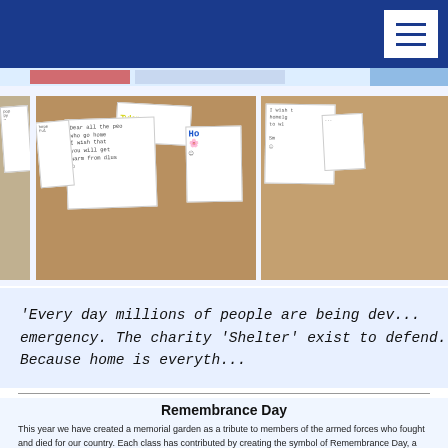Navigation header bar with hamburger menu
[Figure (photo): Photos of children's handwritten notes and wishes pinned to a noticeboard, related to the charity Shelter and homelessness]
'Every day millions of people are being dev... emergency. The charity 'Shelter' exist to defend... Because home is everyth...
Remembrance Day
This year we have created a memorial garden as a tribute to members of the armed forces who fought and died for our country. Each class has contributed by creating the symbol of Remembrance Day, a poppy, to remember those who gave up so much to protect us.
[Figure (photo): Partial view of photos related to Remembrance Day activities]